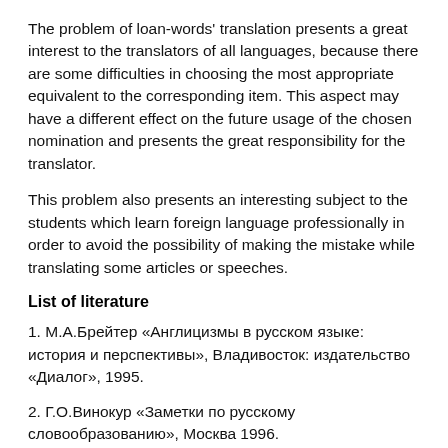The problem of loan-words' translation presents a great interest to the translators of all languages, because there are some difficulties in choosing the most appropriate equivalent to the corresponding item. This aspect may have a different effect on the future usage of the chosen nomination and presents the great responsibility for the translator.
This problem also presents an interesting subject to the students which learn foreign language professionally in order to avoid the possibility of making the mistake while translating some articles or speeches.
List of literature
1. М.А.Брейтер «Англицизмы в русском языке: история и перспективы», Владивосток: издательство «Диалог», 1995.
2. Г.О.Винокур «Заметки по русскому словообразованию», Москва 1996.